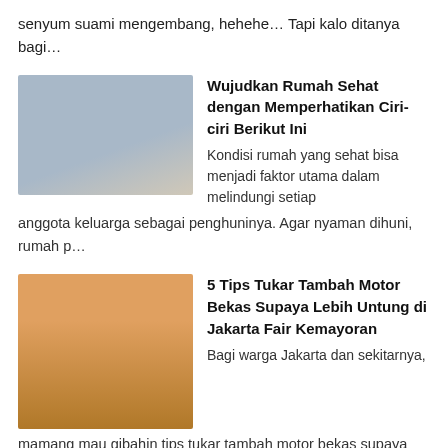senyum suami mengembang, hehehe… Tapi kalo ditanya bagi…
[Figure (photo): Person sitting on a bed looking at phone, indoor setting]
Wujudkan Rumah Sehat dengan Memperhatikan Ciri-ciri Berikut Ini
Kondisi rumah yang sehat bisa menjadi faktor utama dalam melindungi setiap anggota keluarga sebagai penghuninya. Agar nyaman dihuni, rumah p…
[Figure (photo): Person standing in front of an orange building exterior, Jakarta Fair Kemayoran]
5 Tips Tukar Tambah Motor Bekas Supaya Lebih Untung di Jakarta Fair Kemayoran
Bagi warga Jakarta dan sekitarnya, mamang mau gibahin tips tukar tambah motor bekas supaya lebih untung saat kamu ke Jakarta Fair Kemayoran …
[Figure (photo): Red building or landmark in Palembang]
Kenapa Palembang?
Kenapa Pelembang? Seperti yang kita